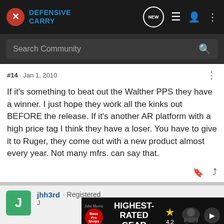Defensive Carry
Search Community
#14 · Jan 1, 2010
If it's something to beat out the Walther PPS they have a winner. I just hope they work all the kinks out BEFORE the release. If it's another AR platform with a high price tag I think they have a loser. You have to give it to Ruger, they come out with a new product almost every year. Not many mfrs. can say that.
jhh3rd · Registered
[Figure (screenshot): Bass Pro Shops advertisement for Highest-Rated Gear with 4.2 star rating and product image with play button]